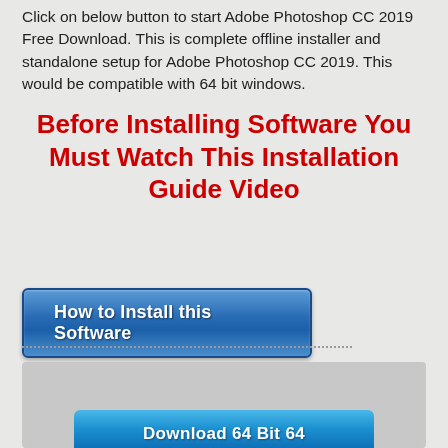Click on below button to start Adobe Photoshop CC 2019 Free Download. This is complete offline installer and standalone setup for Adobe Photoshop CC 2019. This would be compatible with 64 bit windows.
Before Installing Software You Must Watch This Installation Guide Video
[Figure (screenshot): Blue button labeled 'How to Install this Software']
[Figure (screenshot): Gray download box with partially visible blue 'Download 64 Bit 64' button at bottom]